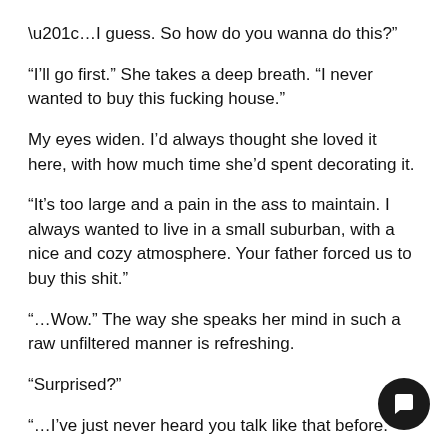“…I guess. So how do you wanna do this?”
“I’ll go first.” She takes a deep breath. “I never wanted to buy this fucking house.”
My eyes widen. I’d always thought she loved it here, with how much time she’d spent decorating it.
“It’s too large and a pain in the ass to maintain. I always wanted to live in a small suburban, with a nice and cozy atmosphere. Your father forced us to buy this shit.”
“…Wow.” The way she speaks her mind in such a raw unfiltered manner is refreshing.
“Surprised?”
“…I’ve just never heard you talk like that before.”
“D… … … … … … …”